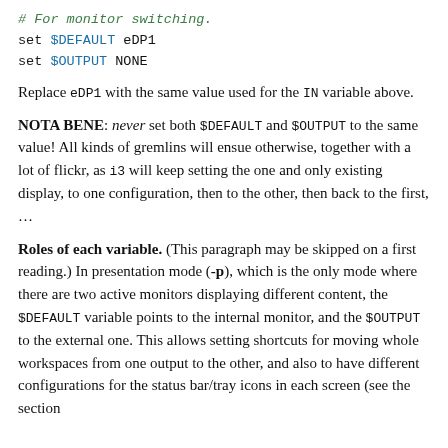# For monitor switching.
set $DEFAULT eDP1
set $OUTPUT NONE
Replace eDP1 with the same value used for the IN variable above.
NOTA BENE: never set both $DEFAULT and $OUTPUT to the same value! All kinds of gremlins will ensue otherwise, together with a lot of flickr, as i3 will keep setting the one and only existing display, to one configuration, then to the other, then back to the first, …
Roles of each variable. (This paragraph may be skipped on a first reading.) In presentation mode (-p), which is the only mode where there are two active monitors displaying different content, the $DEFAULT variable points to the internal monitor, and the $OUTPUT to the external one. This allows setting shortcuts for moving whole workspaces from one output to the other, and also to have different configurations for the status bar/tray icons in each screen (see the section